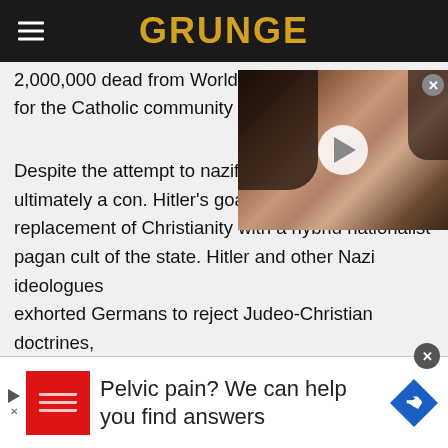GRUNGE
2,000,000 dead from World War I as replacements for the Catholic community of saints.
Despite the attempt to nazify ultimately a con. Hitler's goal, replacement of Christianity with a hybrid nationalist pagan cult of the state. Hitler and other Nazi ideologues exhorted Germans to reject Judeo-Christian doctrines, those teachings of "alien priests" that they deemed a threat to Germany's future existence and brought the state into conflict with Catholicism and Protestantism
[Figure (screenshot): Video thumbnail showing a woman's face with a play button overlay]
Pelvic pain? We can help you find answers